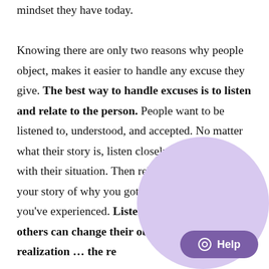mindset they have today.

Knowing there are only two reasons why people object, makes it easier to handle any excuse they give. The best way to handle excuses is to listen and relate to the person. People want to be listened to, understood, and accepted. No matter what their story is, listen closely and empathize with their situation. Then relate to them by telling your story of why you got started and the success you've experienced. Listening and relating to others can change their objection to a realization … the re